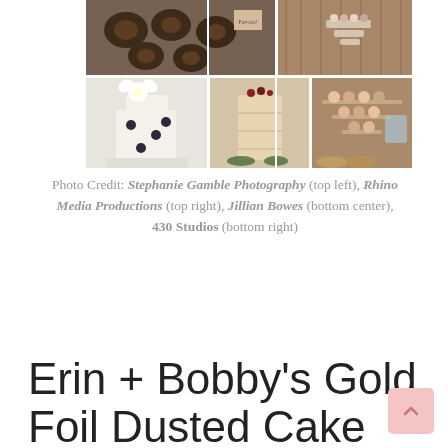[Figure (photo): Photo collage of wedding cakes and dessert tables: top left shows donuts/sweets, top right shows a rustic barn setting with tiered dessert display, bottom left shows a white floral cake with black dots, bottom center shows a naked layered cake, bottom right shows a dessert table with cupcakes and sweets.]
Photo Credit: Stephanie Gamble Photography (top left), Rhino Media Productions (top right), Jillian Bowes (bottom center), 430 Studios (bottom right)
Erin + Bobby's Gold Foil Dusted Cake